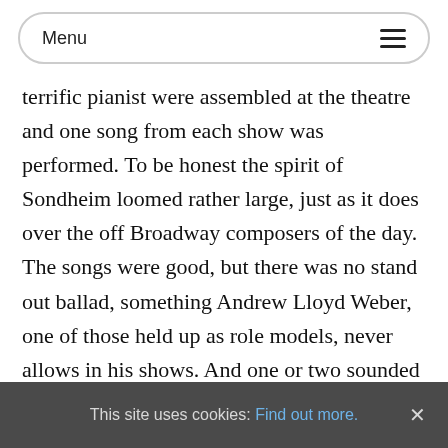Menu
terrific pianist were assembled at the theatre and one song from each show was performed. To be honest the spirit of Sondheim loomed rather large, just as it does over the off Broadway composers of the day. The songs were good, but there was no stand out ballad, something Andrew Lloyd Weber, one of those held up as role models, never allows in his shows. And one or two sounded like Sondheim rejects, and one like something the man might himself have been pleased to have penned. Maybe the would be creators of musical theatre of the next decade could do a little more
This site uses cookies: Find out more. ×